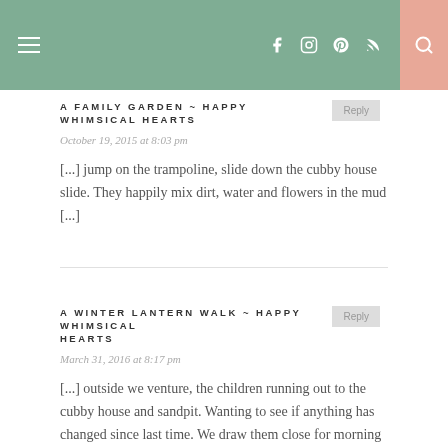A FAMILY GARDEN ~ HAPPY WHIMSICAL HEARTS [nav header with icons]
A FAMILY GARDEN ~ HAPPY WHIMSICAL HEARTS
October 19, 2015 at 8:03 pm
[...] jump on the trampoline, slide down the cubby house slide. They happily mix dirt, water and flowers in the mud [...]
A WINTER LANTERN WALK ~ HAPPY WHIMSICAL HEARTS
March 31, 2016 at 8:17 pm
[...] outside we venture, the children running out to the cubby house and sandpit. Wanting to see if anything has changed since last time. We draw them close for morning [...]